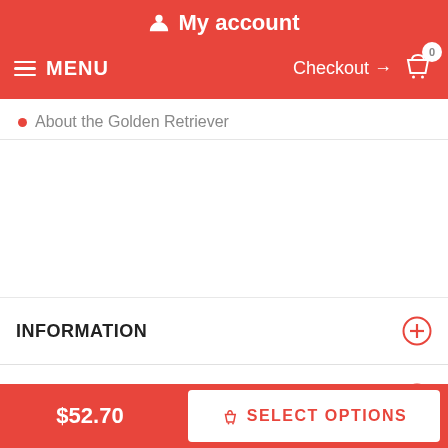My account
MENU | Checkout → 0
About the Golden Retriever
INFORMATION
MY ACCOUNT
FAQ
$52.70
SELECT OPTIONS